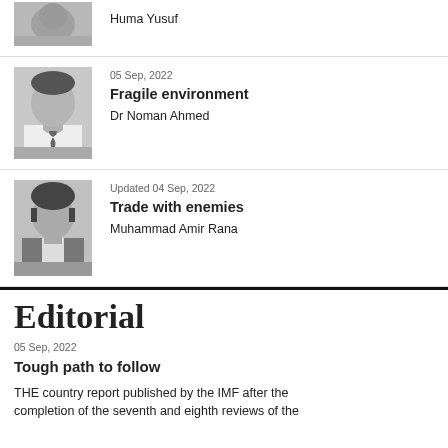Huma Yusuf
05 Sep, 2022
Fragile environment
Dr Noman Ahmed
Updated 04 Sep, 2022
Trade with enemies
Muhammad Amir Rana
Editorial
05 Sep, 2022
Tough path to follow
THE country report published by the IMF after the completion of the seventh and eighth reviews of the